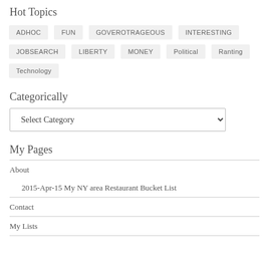Hot Topics
ADHOC
FUN
GOVEROTRAGEOUS
INTERESTING
JOBSEARCH
LIBERTY
MONEY
Political
Ranting
Technology
Categorically
Select Category
My Pages
About
2015-Apr-15 My NY area Restaurant Bucket List
Contact
My Lists